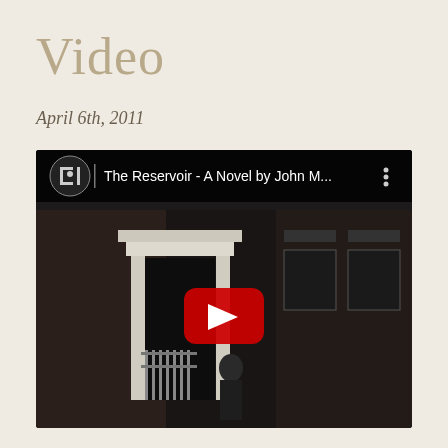Video
April 6th, 2011
[Figure (screenshot): YouTube video embed showing 'The Reservoir - A Novel by John M...' with a dark nighttime photo of a brick building entrance with white door frame, iron gate, and a figure standing near stairs. A red YouTube play button is centered on the image. The video title bar at top shows a channel logo and three-dot menu.]